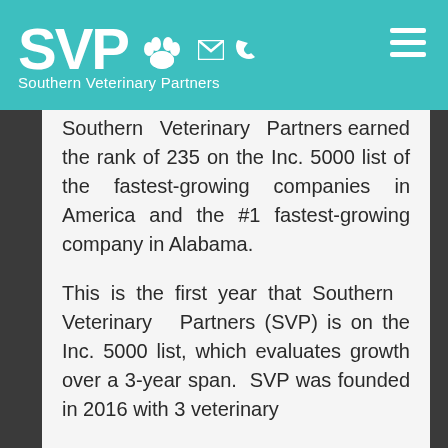[Figure (logo): Southern Veterinary Partners (SVP) logo with paw print icon, envelope and phone icons, on teal header background with hamburger menu icon on right]
Southern Veterinary Partners earned the rank of 235 on the Inc. 5000 list of the fastest-growing companies in America and the #1 fastest-growing company in Alabama.
This is the first year that Southern Veterinary Partners (SVP) is on the Inc. 5000 list, which evaluates growth over a 3-year span. SVP was founded in 2016 with 3 veterinary